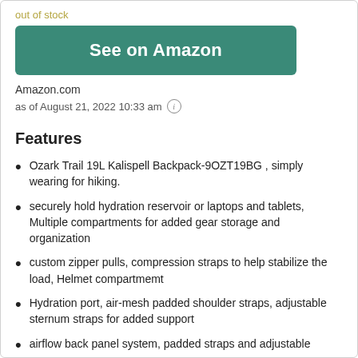out of stock
See on Amazon
Amazon.com
as of August 21, 2022 10:33 am ⓘ
Features
Ozark Trail 19L Kalispell Backpack-9OZT19BG , simply wearing for hiking.
securely hold hydration reservoir or laptops and tablets, Multiple compartments for added gear storage and organization
custom zipper pulls, compression straps to help stabilize the load, Helmet compartmemt
Hydration port, air-mesh padded shoulder straps, adjustable sternum straps for added support
airflow back panel system, padded straps and adjustable